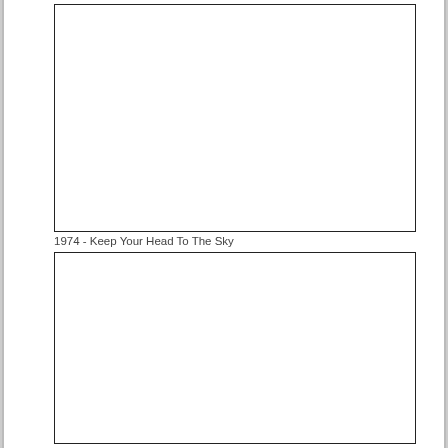[Figure (other): Empty white box with black border, upper image placeholder]
1974 - Keep Your Head To The Sky
[Figure (other): Empty white box with black border, lower image placeholder]